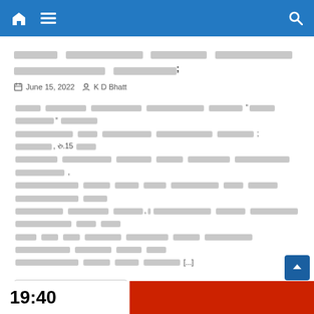Navigation bar with home, menu, and search icons
[Gujarati script title text];
June 15, 2022  K D Bhatt
[Gujarati script article body text with quoted text and reference to 15 and [...] continuation]
Continue Reading
19:40